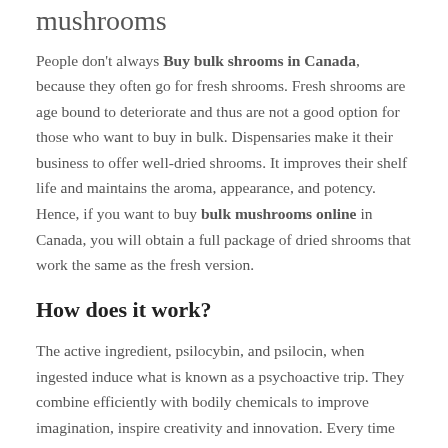mushrooms
People don't always Buy bulk shrooms in Canada, because they often go for fresh shrooms. Fresh shrooms are age bound to deteriorate and thus are not a good option for those who want to buy in bulk. Dispensaries make it their business to offer well-dried shrooms. It improves their shelf life and maintains the aroma, appearance, and potency. Hence, if you want to buy bulk mushrooms online in Canada, you will obtain a full package of dried shrooms that work the same as the fresh version.
How does it work?
The active ingredient, psilocybin, and psilocin, when ingested induce what is known as a psychoactive trip. They combine efficiently with bodily chemicals to improve imagination, inspire creativity and innovation. Every time you use shrooms you get to enjoy these wonderful benefits. And for